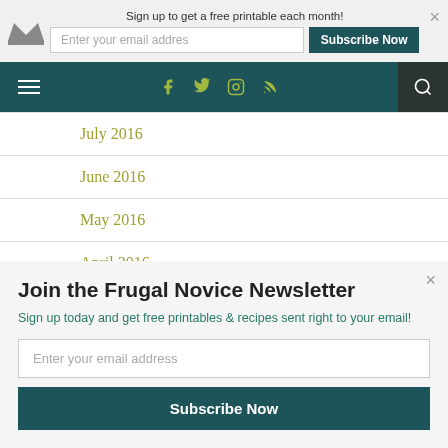Sign up to get a free printable each month! [email input] Subscribe Now
[Figure (screenshot): Website navigation bar with hamburger menu, social icons (Facebook, Twitter, Instagram, RSS), and search button on dark teal background]
July 2016
June 2016
May 2016
April 2016
Join the Frugal Novice Newsletter
Sign up today and get free printables & recipes sent right to your email!
Enter your email address
Subscribe Now